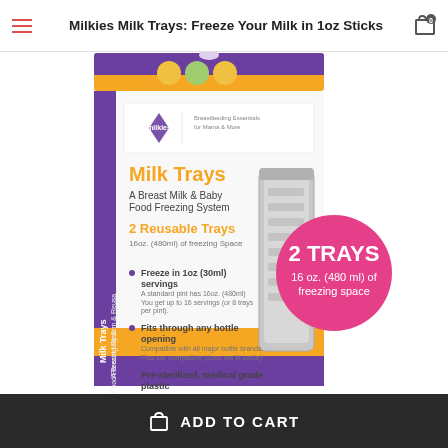Milkies Milk Trays: Freeze Your Milk in 1oz Sticks
[Figure (photo): Product photo of Milkies Milk Trays box — a breast milk and baby food freezing system with 2 reusable trays, 16 oz (480ml) of freezing space. Box shows purple and orange branding with bullet points: Freeze in 1oz (30ml) servings, Fits through any bottle opening, Pre-sterilized medical grade plastic. A pink circle badge reads '2 TRAYS 16 oz. (480 ml) of freezing space'.]
ADD TO CART